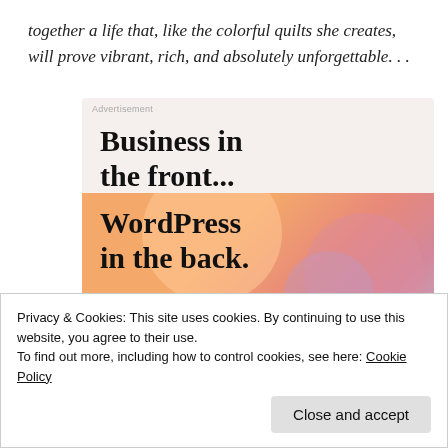together a life that, like the colorful quilts she creates, will prove vibrant, rich, and absolutely unforgettable. . .
[Figure (infographic): Advertisement banner for WordPress. Top section has light beige background with bold serif text 'Business in the front...'. Bottom section has a colorful gradient background with peach, pink, and lavender blob shapes, with bold serif text 'WordPress in the back.']
Privacy & Cookies: This site uses cookies. By continuing to use this website, you agree to their use.
To find out more, including how to control cookies, see here: Cookie Policy
Close and accept